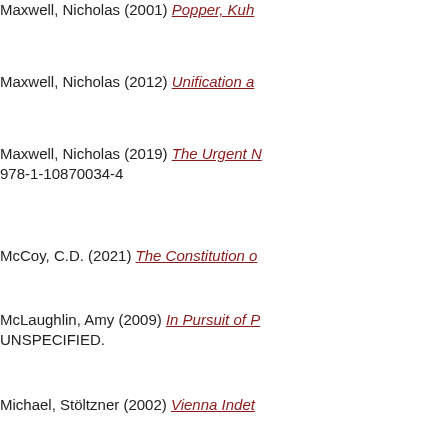Maxwell, Nicholas (2001) Popper, Kuhn…
Maxwell, Nicholas (2012) Unification a…
Maxwell, Nicholas (2019) The Urgent N… 978-1-10870034-4
McCoy, C.D. (2021) The Constitution o…
McLaughlin, Amy (2009) In Pursuit of P… UNSPECIFIED.
Michael, Stöltzner (2002) Vienna Indet…
Mikhalevich, Irina (2014) EXPERIMEN…
Milena, Ivanova (2020) Beauty, Truth a…
Miller, Mark and Rietveld, Erik and Kive… [Preprint]
Mizrahi, Moti (2014) Constructive Emp…
Mizrahi, Moti (2013) Kuhn's Incommensu…